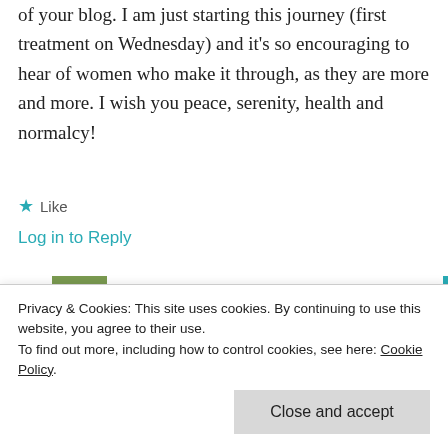of your blog. I am just starting this journey (first treatment on Wednesday) and it's so encouraging to hear of women who make it through, as they are more and more. I wish you peace, serenity, health and normalcy!
★ Like
Log in to Reply
[Figure (photo): User avatar thumbnail showing green floral/plant image for user mainelyhopeful]
mainelyhopeful · September 22, 2012
Privacy & Cookies: This site uses cookies. By continuing to use this website, you agree to their use.
To find out more, including how to control cookies, see here: Cookie Policy
Close and accept
Log in to Reply